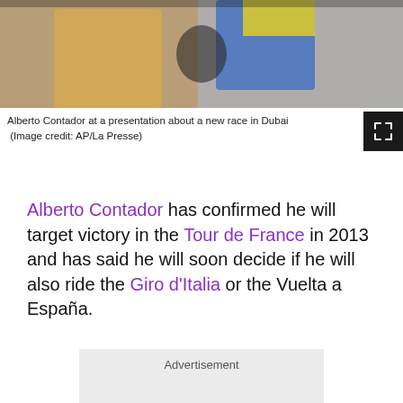[Figure (photo): Alberto Contador at a presentation about a new race in Dubai, two people holding a trophy, one in tan jacket and one in blue and yellow cycling jersey]
Alberto Contador at a presentation about a new race in Dubai (Image credit: AP/La Presse)
Alberto Contador has confirmed he will target victory in the Tour de France in 2013 and has said he will soon decide if he will also ride the Giro d'Italia or the Vuelta a España.
Advertisement